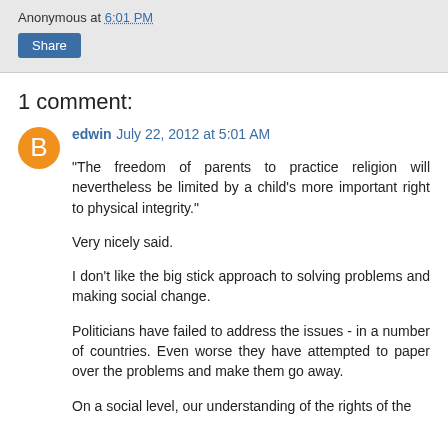Anonymous at 6:01 PM
Share
1 comment:
edwin  July 22, 2012 at 5:01 AM
"The freedom of parents to practice religion will nevertheless be limited by a child's more important right to physical integrity."

Very nicely said.

I don't like the big stick approach to solving problems and making social change.

Politicians have failed to address the issues - in a number of countries. Even worse they have attempted to paper over the problems and make them go away.

On a social level, our understanding of the rights of the